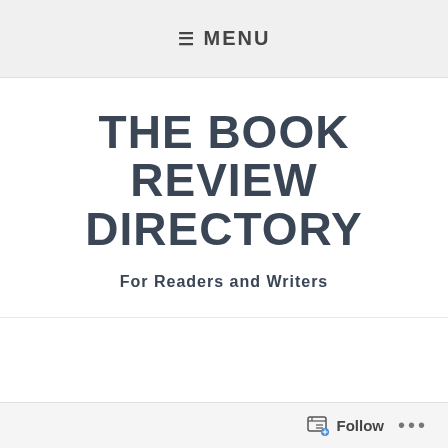≡ MENU
THE BOOK REVIEW DIRECTORY
For Readers and Writers
The Maze Runner – Book